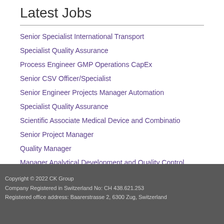Latest Jobs
Senior Specialist International Transport
Specialist Quality Assurance
Process Engineer GMP Operations CapEx
Senior CSV Officer/Specialist
Senior Engineer Projects Manager Automation
Specialist Quality Assurance
Scientific Associate Medical Device and Combinatio
Senior Project Manager
Quality Manager
Manager Analytical Development and Quality Control
Copyright © 2022 CK Group
Company Registered in Switzerland No: CH 438.621.253
Registered office address: Baarerstrasse 2, 6300 Zug, Switzerland